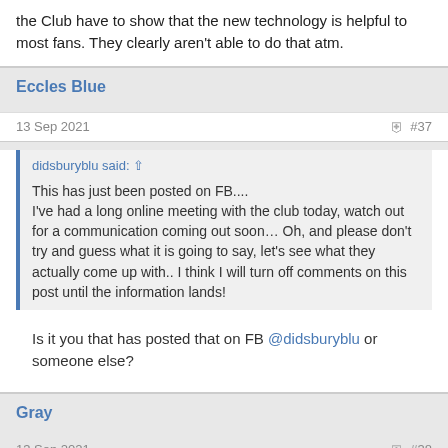the Club have to show that the new technology is helpful to most fans. They clearly aren't able to do that atm.
Eccles Blue
13 Sep 2021   #37
didsburyblu said: ↑
This has just been posted on FB....
I've had a long online meeting with the club today, watch out for a communication coming out soon… Oh, and please don't try and guess what it is going to say, let's see what they actually come up with.. I think I will turn off comments on this post until the information lands!
Is it you that has posted that on FB @didsburyblu or someone else?
Gray
13 Sep 2021   #38